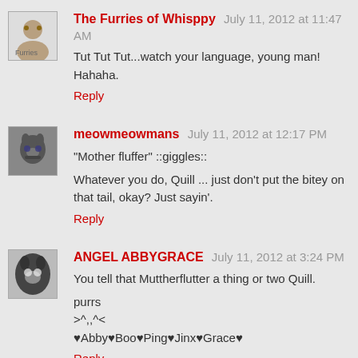The Furries of Whisppy  July 11, 2012 at 11:47 AM
Tut Tut Tut...watch your language, young man! Hahaha.
Reply
meowmeowmans  July 11, 2012 at 12:17 PM
"Mother fluffer" ::giggles::
Whatever you do, Quill ... just don't put the bitey on that tail, okay? Just sayin'.
Reply
ANGEL ABBYGRACE  July 11, 2012 at 3:24 PM
You tell that Muttherflutter a thing or two Quill.
purrs
>^,,^<
♥Abby♥Boo♥Ping♥Jinx♥Grace♥
Reply